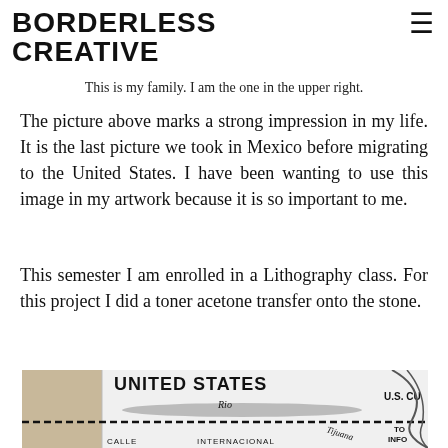BORDERLESS CREATIVE
This is my family. I am the one in the upper right.
The picture above marks a strong impression in my life. It is the last picture we took in Mexico before migrating to the United States. I have been wanting to use this image in my artwork because it is so important to me.
This semester I am enrolled in a Lithography class. For this project I did a toner acetone transfer onto the stone.
[Figure (map): A map showing the US-Mexico border area with labels: UNITED STATES, U.S. CU, Rio, Tijuana, TO INFO, CALLE, INTERNACIONAL. A dashed line represents the international border.]